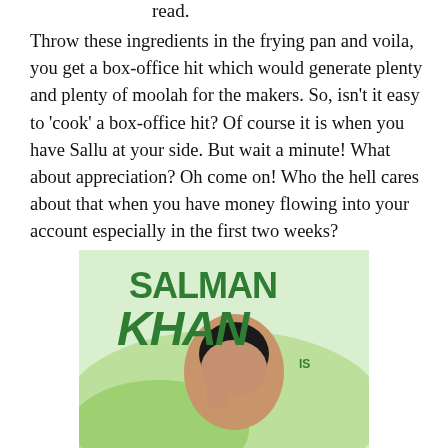read.
Throw these ingredients in the frying pan and voila, you get a box-office hit which would generate plenty and plenty of moolah for the makers. So, isn't it easy to 'cook' a box-office hit? Of course it is when you have Sallu at your side. But wait a minute! What about appreciation? Oh come on! Who the hell cares about that when you have money flowing into your account especially in the first two weeks?
[Figure (photo): Movie poster or promotional image featuring Salman Khan in bold green stylized text reading 'SALMAN KHAN IS', with a man posing with hand near face against a green and white background.]